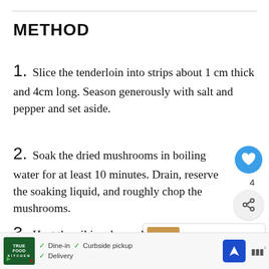METHOD
1. Slice the tenderloin into strips about 1 cm thick and 4cm long. Season generously with salt and pepper and set aside.
2. Soak the dried mushrooms in boiling water for at least 10 minutes. Drain, reserve the soaking liquid, and roughly chop the mushrooms.
3. Heat the oil in a large skillet or frying pan over high heat. Add the pork and se...
[Figure (screenshot): UI overlay with heart/like button (blue circle with heart icon), count of 4, share button. What's Next panel showing chestnut and mushroom dish. Advertisement bar at bottom with True Food Kitchen logo, dine-in/curbside pickup/delivery options, navigation icon.]